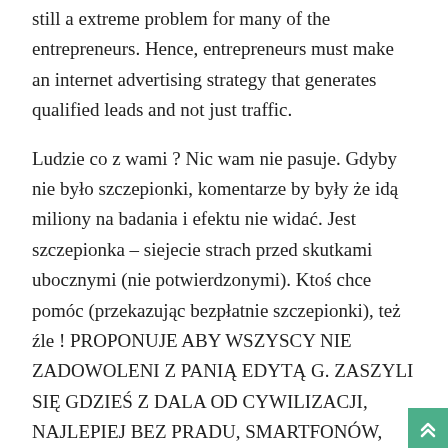still a extreme problem for many of the entrepreneurs. Hence, entrepreneurs must make an internet advertising strategy that generates qualified leads and not just traffic.
Ludzie co z wami ? Nic wam nie pasuje. Gdyby nie było szczepionki, komentarze by były że idą miliony na badania i efektu nie widać. Jest szczepionka – siejecie strach przed skutkami ubocznymi (nie potwierdzonymi). Ktoś chce pomóc (przekazując bezpłatnie szczepionki), też źle ! PROPONUJE ABY WSZYSCY NIE ZADOWOLENI Z PANIĄ EDYTĄ G. ZASZYLI SIĘ GDZIEŚ Z DALA OD CYWILIZACJI, NAJLEPIEJ BEZ PRADU, SMARTFONÓW, LAPTOPÓW I TELEWIZU